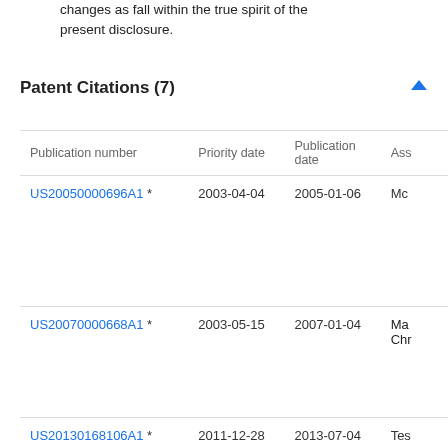changes as fall within the true spirit of the present disclosure.
Patent Citations (7)
| Publication number | Priority date | Publication date | Ass |
| --- | --- | --- | --- |
| US20050000696A1 * | 2003-04-04 | 2005-01-06 | Mc |
| US20070000668A1 * | 2003-05-15 | 2007-01-04 | Ma Chr |
| US20130168106A1 * | 2011-12-28 | 2013-07-04 | Tes |
| US2015... | 2013-02-13 | 2015-02-12 | N... |